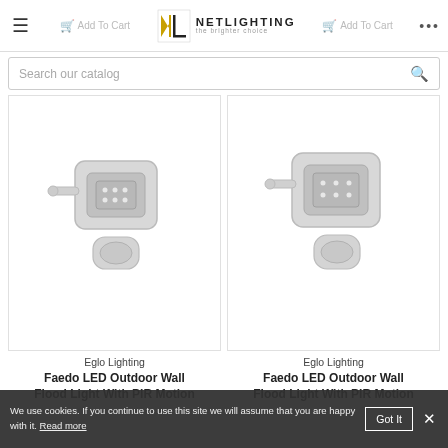Netlighting — the brighter choice
Search our catalog
[Figure (photo): Eglo Faedo LED Outdoor Wall Flood Light with PIR Motion sensor in white — left product card]
[Figure (photo): Eglo Faedo LED Outdoor Wall Flood Light with PIR Motion sensor in white — right product card]
Eglo Lighting
Faedo LED Outdoor Wall Flood Light With PIR Motion
Eglo Lighting
Faedo LED Outdoor Wall Flood Light With PIR Motion
We use cookies. If you continue to use this site we will assume that you are happy with it. Read more